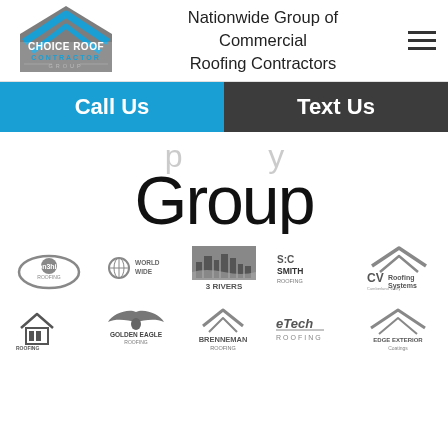[Figure (logo): Choice Roof Contractor Group logo with chevron/house icon in grey and blue]
Nationwide Group of Commercial Roofing Contractors
[Figure (other): Hamburger menu icon (three horizontal lines)]
Call Us
Text Us
Group
[Figure (logo): Partner roofing company logos row 1: SonShine, World Wide, 3 Rivers, S&C Smith Roofing, CV Roofing Systems]
[Figure (logo): Partner roofing company logos row 2: DB Roofing Solutions, Golden Eagle, Brenneman Roofing, eTech Roofing, Edge Exterior Coatings]